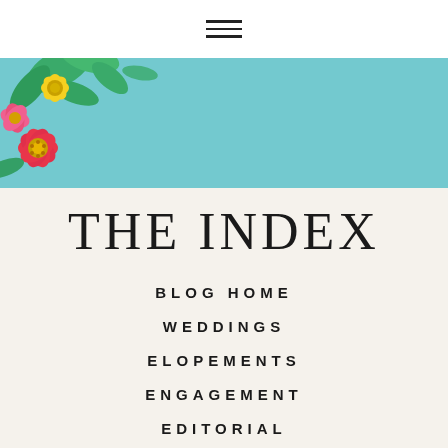[Figure (illustration): Hamburger menu icon (three horizontal lines) centered on white top bar]
[Figure (photo): Floral photo banner with light blue/teal background and colorful flowers (yellow, red/pink) in upper left corner]
THE INDEX
BLOG HOME
WEDDINGS
ELOPEMENTS
ENGAGEMENT
EDITORIAL